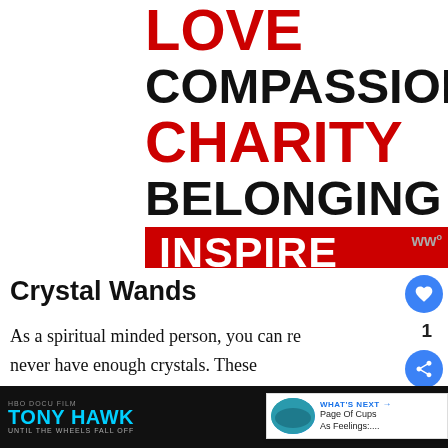[Figure (illustration): Motivational text graphic with words LOVE (red), COMPASSION (black), CHARITY (red), BELONGING (black), and INSPIRE CHANGE (white on red background) stacked vertically in bold uppercase typography]
Crystal Wands
As a spiritual minded person, you can re... never have enough crystals. These amazing Crystal Wands are any crystal lo...
[Figure (screenshot): What's Next thumbnail: Page Of Cups As Feelings:....]
[Figure (screenshot): Advertisement: HBO Docfilm Tony Hawk Until The Wheels Fall Off, HBOmax Sign Up Starting At $9 per month]